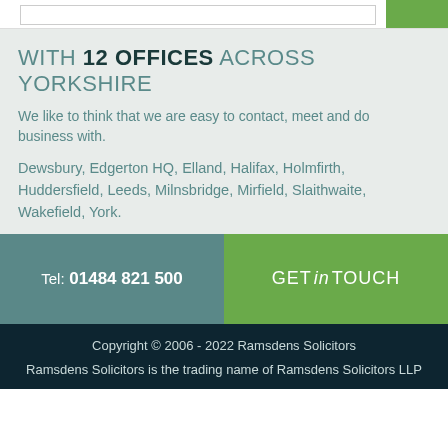WITH 12 OFFICES ACROSS YORKSHIRE
We like to think that we are easy to contact, meet and do business with.
Dewsbury, Edgerton HQ, Elland, Halifax, Holmfirth, Huddersfield, Leeds, Milnsbridge, Mirfield, Slaithwaite, Wakefield, York.
Tel: 01484 821 500
GET in TOUCH
Copyright © 2006 - 2022 Ramsdens Solicitors
Ramsdens Solicitors is the trading name of Ramsdens Solicitors LLP